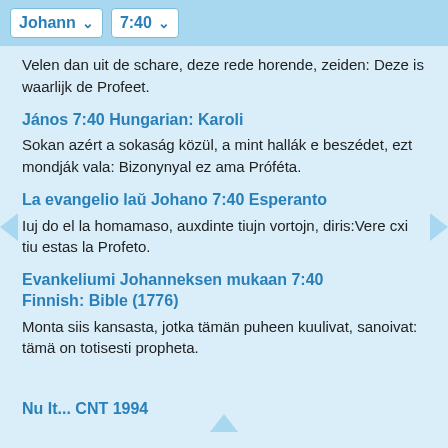Johann 7:40
Velen dan uit de schare, deze rede horende, zeiden: Deze is waarlijk de Profeet.
János 7:40 Hungarian: Karoli
Sokan azért a sokaság közül, a mint hallák e beszédet, ezt mondják vala: Bizonynyal ez ama Próféta.
La evangelio laŭ Johano 7:40 Esperanto
Iuj do el la homamaso, auxdinte tiujn vortojn, diris:Vere cxi tiu estas la Profeto.
Evankeliumi Johanneksen mukaan 7:40 Finnish: Bible (1776)
Monta siis kansasta, jotka tämän puheen kuulivat, sanoivat: tämä on totisesti propheta.
Nu It... CNT 1994